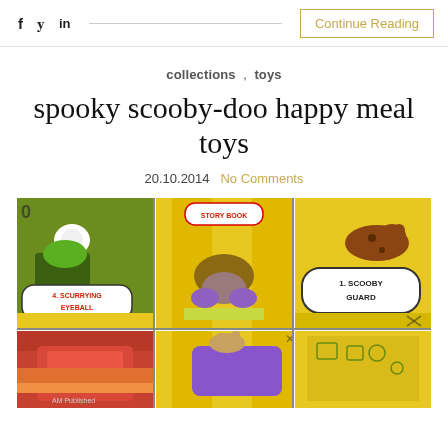f  y  in  |  Continue Reading
collections , toys
spooky scooby-doo happy meal toys
20.10.2014  No Comments
[Figure (photo): Grid of six photos showing Spooky Scooby-Doo Happy Meal toys in their packaging. Visible toys include '4. Scurrying Eyeball' (green monster with white eyeball), a hermit crab-like creature labeled with story book tag, '1. Scooby Guard' (Scooby-Doo figure), and two more toys in bottom row including a purple character.]